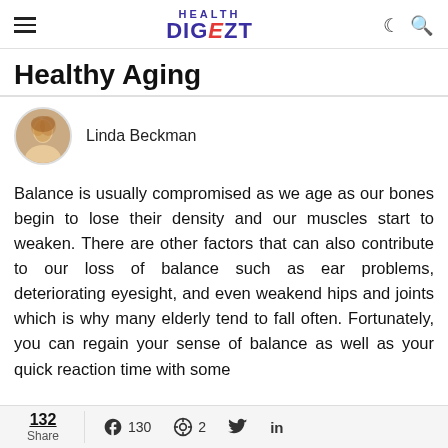HEALTH DIGEZT
Healthy Aging
Linda Beckman
Balance is usually compromised as we age as our bones begin to lose their density and our muscles start to weaken. There are other factors that can also contribute to our loss of balance such as ear problems, deteriorating eyesight, and even weakend hips and joints which is why many elderly tend to fall often. Fortunately, you can regain your sense of balance as well as your quick reaction time with some
132 Share  130  2